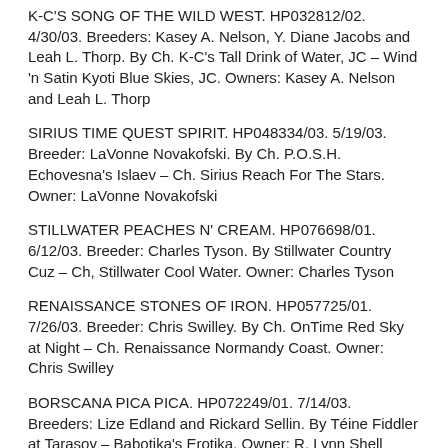K-C'S SONG OF THE WILD WEST. HP032812/02. 4/30/03. Breeders: Kasey A. Nelson, Y. Diane Jacobs and Leah L. Thorp. By Ch. K-C's Tall Drink of Water, JC – Wind 'n Satin Kyoti Blue Skies, JC. Owners: Kasey A. Nelson and Leah L. Thorp
SIRIUS TIME QUEST SPIRIT. HP048334/03. 5/19/03. Breeder: LaVonne Novakofski. By Ch. P.O.S.H. Echovesna's Islaev – Ch. Sirius Reach For The Stars. Owner: LaVonne Novakofski
STILLWATER PEACHES N' CREAM. HP076698/01. 6/12/03. Breeder: Charles Tyson. By Stillwater Country Cuz – Ch, Stillwater Cool Water. Owner: Charles Tyson
RENAISSANCE STONES OF IRON. HP057725/01. 7/26/03. Breeder: Chris Swilley. By Ch. OnTime Red Sky at Night – Ch. Renaissance Normandy Coast. Owner: Chris Swilley
BORSCANA PICA PICA. HP072249/01. 7/14/03. Breeders: Lize Edland and Rickard Sellin. By Téine Fiddler at Tarasov – Babotjka's Erotika. Owner: R. Lynn Shell